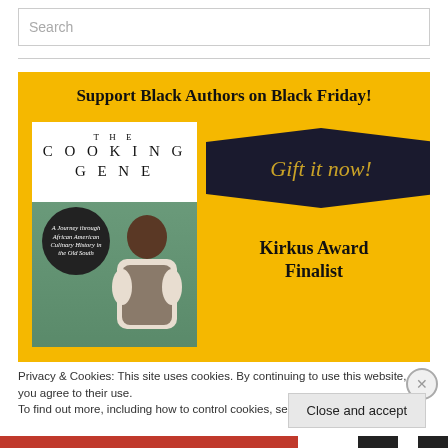Search
[Figure (illustration): Yellow promotional banner for a book called The Cooking Gene, with text 'Support Black Authors on Black Friday!', a book cover image on the left, a dark 'Gift it now!' button on the right, and 'Kirkus Award Finalist' text below the button.]
Privacy & Cookies: This site uses cookies. By continuing to use this website, you agree to their use.
To find out more, including how to control cookies, see here: Cookie Policy
Close and accept